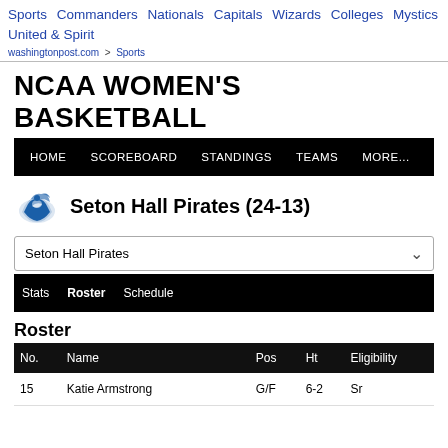Sports | Commanders | Nationals | Capitals | Wizards | Colleges | Mystics | United & Spirit
washingtonpost.com > Sports
NCAA WOMEN'S BASKETBALL
HOME | SCOREBOARD | STANDINGS | TEAMS | MORE...
Seton Hall Pirates (24-13)
Seton Hall Pirates
Stats | Roster | Schedule
Roster
| No. | Name | Pos | Ht | Eligibility |
| --- | --- | --- | --- | --- |
| 15 | Katie Armstrong | G/F | 6-2 | Sr |